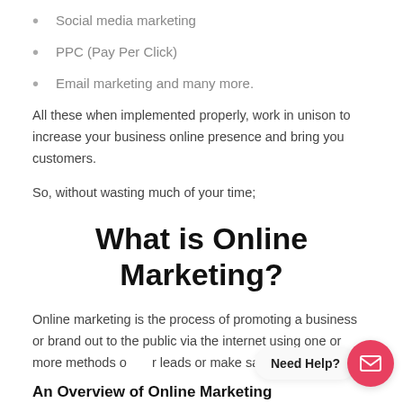Social media marketing
PPC (Pay Per Click)
Email marketing and many more.
All these when implemented properly, work in unison to increase your business online presence and bring you customers.
So, without wasting much of your time;
What is Online Marketing?
Online marketing is the process of promoting a business or brand out to the public via the internet using one or more methods o... leads or make sales.
An Overview of Online Marketing